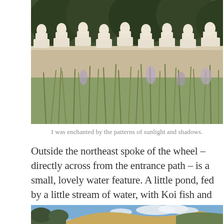[Figure (photo): Rows of white Buddha statues on a wall with wild grasses and plants in the foreground and trees in the background]
I was enchanted by the patterns of sunlight and shadows.
Outside the northeast spoke of the wheel – directly across from the entrance path – is a small, lovely water feature. A little pond, fed by a little stream of water, with Koi fish and water plants. It is surrounded by statues and trees, and is quite lovely.
[Figure (photo): Partial view of a mountain landscape with trees and a blue sky with clouds]